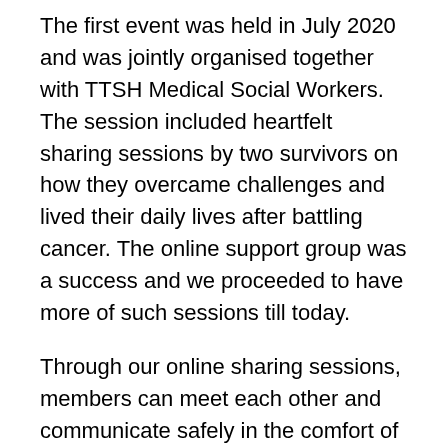The first event was held in July 2020 and was jointly organised together with TTSH Medical Social Workers. The session included heartfelt sharing sessions by two survivors on how they overcame challenges and lived their daily lives after battling cancer. The online support group was a success and we proceeded to have more of such sessions till today.
Through our online sharing sessions, members can meet each other and communicate safely in the comfort of their homes. We were also able to widen our outreach as patients receiving treatment could join in at their convenience, without worrying about their low immunity system. The virtual platform offered a personal and safe space for all our members to share openly.
Loneliness and isolation are very real challenges that